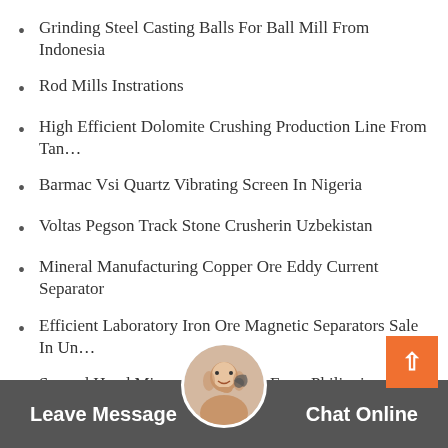Grinding Steel Casting Balls For Ball Mill From Indonesia
Rod Mills Instrations
High Efficient Dolomite Crushing Production Line From Tan…
Barmac Vsi Quartz Vibrating Screen In Nigeria
Voltas Pegson Track Stone Crusherin Uzbekistan
Mineral Manufacturing Copper Ore Eddy Current Separator
Efficient Laboratory Iron Ore Magnetic Separators Sale In Un…
Second Hand Micro Crushers Uk From Philippines
G…Crushing…For Sale N…
Leave Message   Chat Online